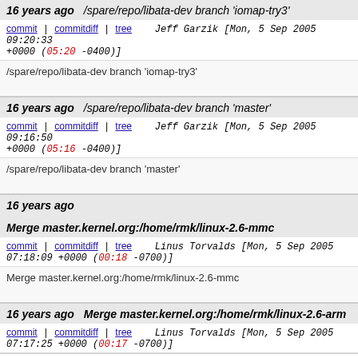16 years ago   /spare/repo/libata-dev branch 'iomap-try3'
commit | commitdiff | tree   Jeff Garzik [Mon, 5 Sep 2005 09:20:33 +0000 (05:20 -0400)]
/spare/repo/libata-dev branch 'iomap-try3'
16 years ago   /spare/repo/libata-dev branch 'master'
commit | commitdiff | tree   Jeff Garzik [Mon, 5 Sep 2005 09:16:50 +0000 (05:16 -0400)]
/spare/repo/libata-dev branch 'master'
16 years ago   Merge master.kernel.org:/home/rmk/linux-2.6-mmc
commit | commitdiff | tree   Linus Torvalds [Mon, 5 Sep 2005 07:18:09 +0000 (00:18 -0700)]
Merge master.kernel.org:/home/rmk/linux-2.6-mmc
16 years ago   Merge master.kernel.org:/home/rmk/linux-2.6-arm
commit | commitdiff | tree   Linus Torvalds [Mon, 5 Sep 2005 07:17:25 +0000 (00:17 -0700)]